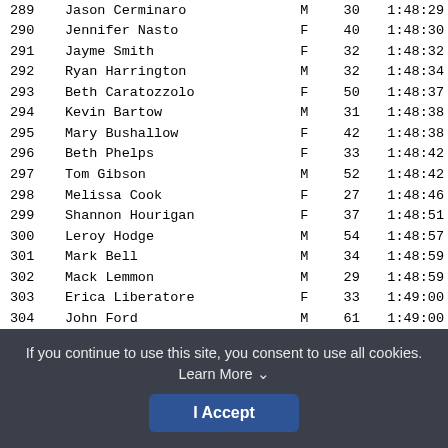| Rank | Name | Gender | Age | Time |
| --- | --- | --- | --- | --- |
| 289 | Jason Cerminaro | M | 30 | 1:48:29 |
| 290 | Jennifer Nasto | F | 40 | 1:48:30 |
| 291 | Jayme Smith | F | 32 | 1:48:32 |
| 292 | Ryan Harrington | M | 32 | 1:48:34 |
| 293 | Beth Caratozzolo | F | 50 | 1:48:37 |
| 294 | Kevin Bartow | M | 31 | 1:48:38 |
| 295 | Mary Bushallow | F | 42 | 1:48:38 |
| 296 | Beth Phelps | F | 33 | 1:48:42 |
| 297 | Tom Gibson | M | 52 | 1:48:42 |
| 298 | Melissa Cook | F | 27 | 1:48:46 |
| 299 | Shannon Hourigan | F | 37 | 1:48:51 |
| 300 | Leroy Hodge | M | 54 | 1:48:57 |
| 301 | Mark Bell | M | 34 | 1:48:59 |
| 302 | Mack Lemmon | M | 29 | 1:48:59 |
| 303 | Erica Liberatore | F | 33 | 1:49:00 |
| 304 | John Ford | M | 61 | 1:49:00 |
| 305 | Krista Babiarz | F | 30 | 1:49:01 |
| 306 | Kevin Garvey | M | 32 | 1:49:03 |
| 307 | Steve Collins | M | 41 | 1:49:05 |
| 308 | Lorie Ann Voight | F | 49 | 1:49:05 |
| 309 | Joseph Dwyer, III | M | 22 | 1:49:06 |
If you continue to use this site, you consent to use all cookies. Learn More ∨
I Accept